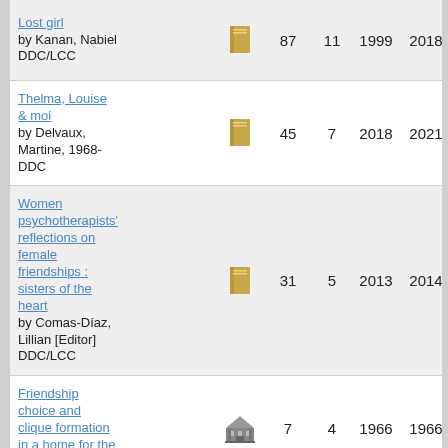| Title/Author | Type | Holdings | Libraries | First year | Last year |
| --- | --- | --- | --- | --- | --- |
| Lost girl by Kanan, Nabiel DDC/LCC | book | 87 | 11 | 1999 | 2018 |
| Thelma, Louise & moi by Delvaux, Martine, 1968- DDC | book | 45 | 7 | 2018 | 2021 |
| Women psychotherapists' reflections on female friendships : sisters of the heart by Comas-Díaz, Lillian [Editor] DDC/LCC | book | 31 | 5 | 2013 | 2014 |
| Friendship choice and clique formation in a home for the aged | institution | 7 | 4 | 1966 | 1966 |